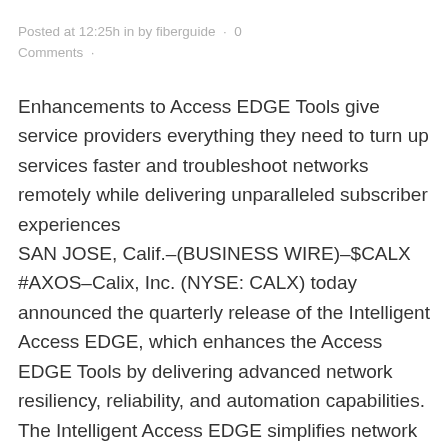Posted at 12:25h in by fiberguide · 0 Comments ·
Enhancements to Access EDGE Tools give service providers everything they need to turn up services faster and troubleshoot networks remotely while delivering unparalleled subscriber experiences
SAN JOSE, Calif.–(BUSINESS WIRE)–$CALX #AXOS–Calix, Inc. (NYSE: CALX) today announced the quarterly release of the Intelligent Access EDGE, which enhances the Access EDGE Tools by delivering advanced network resiliency, reliability, and automation capabilities. The Intelligent Access EDGE simplifies network operations, enabling CSPs to keep subscribers connected and workers